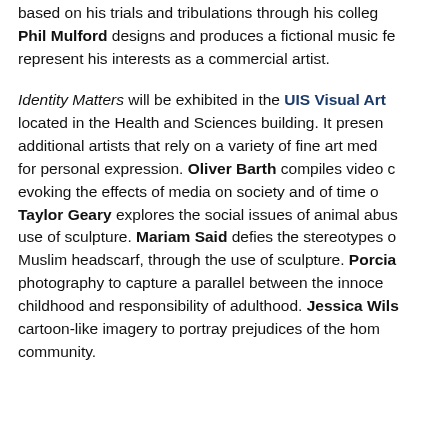based on his trials and tribulations through his college years. Phil Mulford designs and produces a fictional music festival to represent his interests as a commercial artist.
Identity Matters will be exhibited in the UIS Visual Arts Gallery, located in the Health and Sciences building. It presents additional artists that rely on a variety of fine art media for personal expression. Oliver Barth compiles video clips evoking the effects of media on society and of time on culture. Taylor Geary explores the social issues of animal abuse through the use of sculpture. Mariam Said defies the stereotypes of the Muslim headscarf, through the use of sculpture. Porcia uses photography to capture a parallel between the innocence of childhood and responsibility of adulthood. Jessica Wilson uses cartoon-like imagery to portray prejudices of the homosexual community.